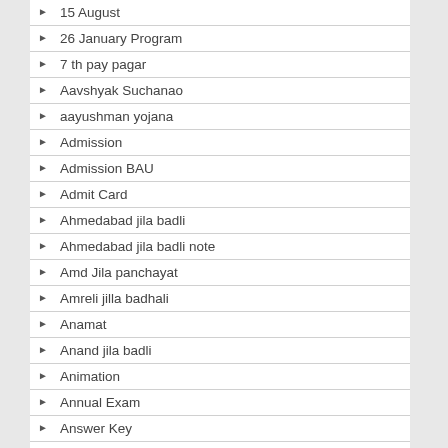15 August
26 January Program
7 th pay pagar
Aavshyak Suchanao
aayushman yojana
Admission
Admission BAU
Admit Card
Ahmedabad jila badli
Ahmedabad jila badli note
Amd Jila panchayat
Amreli jilla badhali
Anamat
Anand jila badli
Animation
Annual Exam
Answer Key
Arohan Project